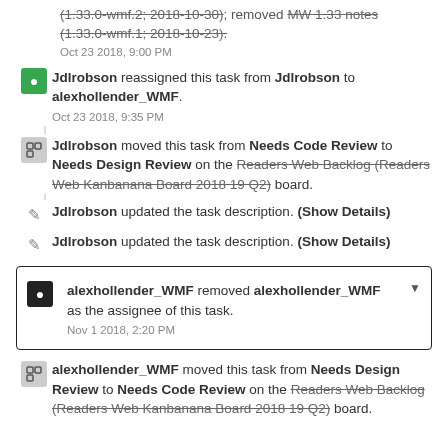(1.33.0-wmf.2; 2018-10-30); removed MW 1.33 notes (1.33.0-wmf.1; 2018-10-23). Oct 23 2018, 9:00 PM
Jdlrobson reassigned this task from Jdlrobson to alexhollender_WMF. Oct 23 2018, 9:35 PM
Jdlrobson moved this task from Needs Code Review to Needs Design Review on the Readers Web Backlog (Readers Web Kanbanana Board 2018 19 Q2) board.
Jdlrobson updated the task description. (Show Details)
Jdlrobson updated the task description. (Show Details)
alexhollender_WMF removed alexhollender_WMF as the assignee of this task. Nov 1 2018, 2:20 PM
alexhollender_WMF moved this task from Needs Design Review to Needs Code Review on the Readers Web Backlog (Readers Web Kanbanana Board 2018 19 Q2) board.